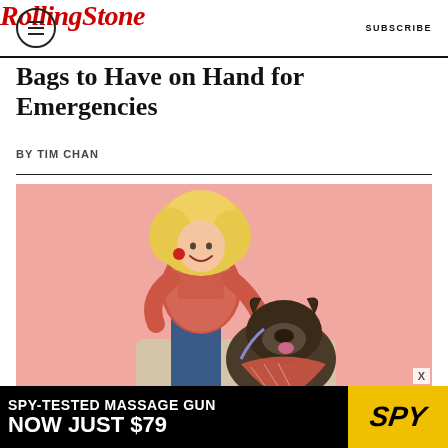Rolling Stone | SUBSCRIBE
Bags to Have on Hand for Emergencies
BY TIM CHAN
[Figure (photo): A smiling blonde woman in a red/coral patterned top and blue pants posing with a dark brindle French Bulldog wearing a matching bandana, against a pink background.]
SPY-TESTED MASSAGE GUN NOW JUST $79 | SPY